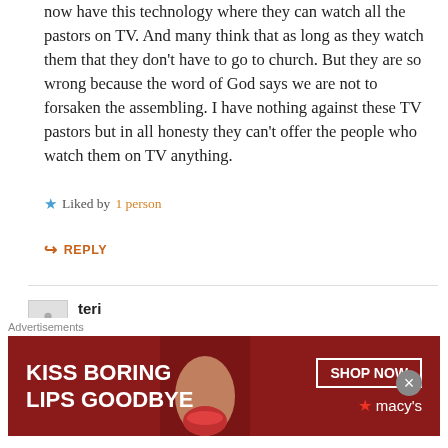now have this technology where they can watch all the pastors on TV. And many think that as long as they watch them that they don't have to go to church. But they are so wrong because the word of God says we are not to forsaken the assembling. I have nothing against these TV pastors but in all honesty they can't offer the people who watch them on TV anything.
Liked by 1 person
REPLY
teri
APRIL 20, 2016 AT 8:58 AM
totally disagree with you....MANY people are not able t
[Figure (screenshot): Advertisement banner for Macy's lipstick. Text reads 'KISS BORING LIPS GOODBYE' with a SHOP NOW button and Macy's star logo.]